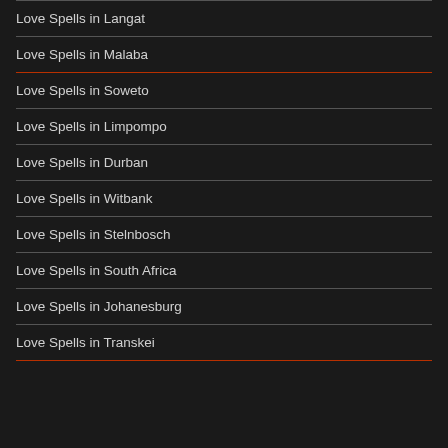Love Spells in Langat
Love Spells in Malaba
Love Spells in Soweto
Love Spells in Limpompo
Love Spells in Durban
Love Spells in Witbank
Love Spells in Stelnbosch
Love Spells in South Africa
Love Spells in Johanesburg
Love Spells in Transkei